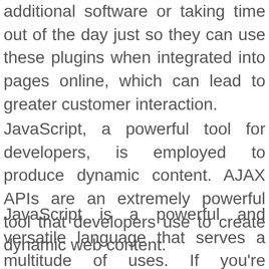incorporate into their websites without downloading any additional software or taking time out of the day just so they can use these plugins when integrated into pages online, which can lead to greater customer interaction.
JavaScript, a powerful tool for developers, is employed to produce dynamic content. AJAX APIs are an extremely powerful tool that developers use to create dynamic web content.
JavaScript is a powerful and versatile language that serves a multitude of uses. If you're uncertain about whether it will help your career, take your time and look at the available options! It will be a reminder of why we